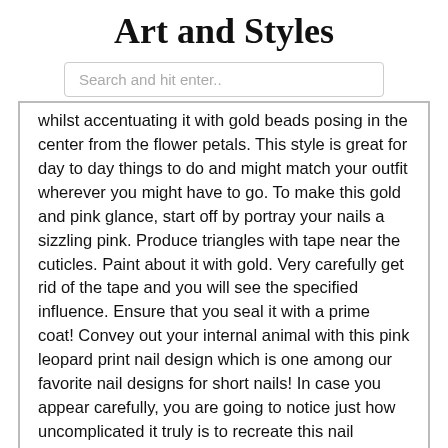Art and Styles
Search and hit enter..
whilst accentuating it with gold beads posing in the center from the flower petals. This style is great for day to day things to do and might match your outfit wherever you might have to go. To make this gold and pink glance, start off by portray your nails a sizzling pink. Produce triangles with tape near the cuticles. Paint about it with gold. Very carefully get rid of the tape and you will see the specified influence. Ensure that you seal it with a prime coat! Convey out your internal animal with this pink leopard print nail design which is one among our favorite nail designs for short nails! In case you appear carefully, you are going to notice just how uncomplicated it truly is to recreate this nail artwork! Ah, the monochrome! To express that I love anything in monochrome is a massive understatement. They're colors that work for virtually any period and with any development. Paint your nails white. Over a surface area that won't absorb liquid (You need to use plastic or metallic), increase a fall or two of h2o. To it, increase a fall of blue polish. Combine it with a brush and